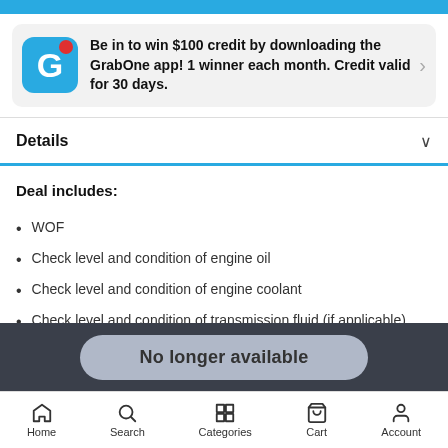[Figure (screenshot): GrabOne app promotional banner with GrabOne icon showing 'G' logo, red notification dot, and text about winning $100 credit]
Be in to win $100 credit by downloading the GrabOne app! 1 winner each month. Credit valid for 30 days.
Details
Deal includes:
WOF
Check level and condition of engine oil
Check level and condition of engine coolant
Check level and condition of transmission fluid (if applicable)
No longer available
Home  Search  Categories  Cart  Account